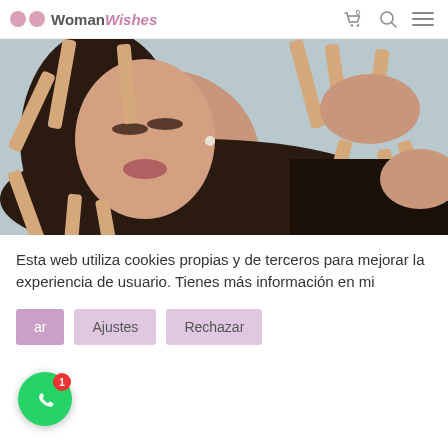WomanWishes — header with cart, search, and menu icons
[Figure (photo): Woman lying down with wooden sticks (spatulas) placed around her face and hands, beauty/waxing treatment photo]
Esta web utiliza cookies propias y de terceros para mejorar la experiencia de usuario. Tienes más información en mi
Aceptar | Ajustes | Rechazar (cookie consent buttons)